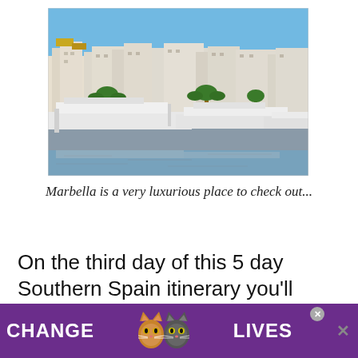[Figure (photo): A marina in Marbella, Spain, showing luxury yachts docked in the foreground and white Mediterranean-style buildings with terracotta rooftops on the hillside behind, with palm trees and a clear blue sky.]
Marbella is a very luxurious place to check out...
On the third day of this 5 day Southern Spain itinerary you'll drive from Málaga t
[Figure (infographic): Advertisement banner with purple background showing two cat faces, bold white text reading CHANGE LIVES, a close button marked X, and a heart icon.]